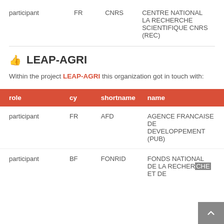| role | cy | shortname | name |
| --- | --- | --- | --- |
| participant | FR | CNRS | CENTRE NATIONAL LA RECHERCHE SCIENTIFIQUE CNRS (REC) |
LEAP-AGRI
Within the project LEAP-AGRI this organization got in touch with:
| role | cy | shortname | name |
| --- | --- | --- | --- |
| participant | FR | AFD | AGENCE FRANCAISE DE DEVELOPPEMENT (PUB) |
| participant | BF | FONRID | FONDS NATIONAL DE LA RECHERCHE ET DE |